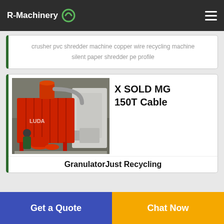R-Machinery
crusher pvc shredder machine copper wire recycling machine silent paper shredder pe profile
[Figure (photo): Industrial cable granulator/recycling machine with red dust collection unit and white sorting equipment in a factory setting]
X SOLD MG 150T Cable
GranulatorJust Recycling
Get a Quote
Chat Now